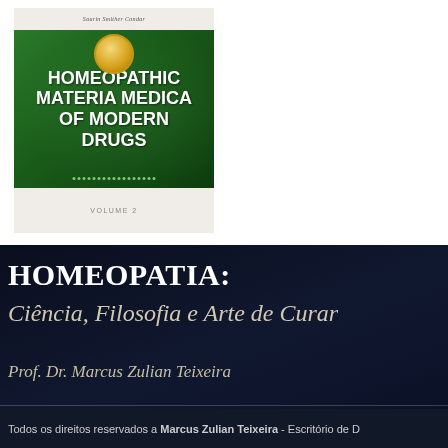[Figure (illustration): Book cover of 'Homeopathic Materia Medica of Modern Drugs, Volume 2' with a green gradient background, gold circular emblem at top, white bold title text, and decorative dots at bottom.]
HOMEOPATIA: Ciência, Filosofia e Arte de Curar
Prof. Dr. Marcus Zulian Teixeira
Todos os direitos reservados a Marcus Zulian Teixeira - Escritório de D